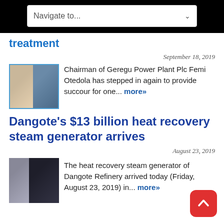Navigate to...
treatment
September 18, 2019
[Figure (photo): Two-person thumbnail photo with a blue border]
Chairman of Geregu Power Plant Plc Femi Otedola has stepped in again to provide succour for one... more»
Dangote's $13 billion heat recovery steam generator arrives
August 23, 2019
[Figure (photo): Two-person thumbnail photo, man with glasses on right]
The heat recovery steam generator of Dangote Refinery arrived today (Friday, August 23, 2019) in... more»